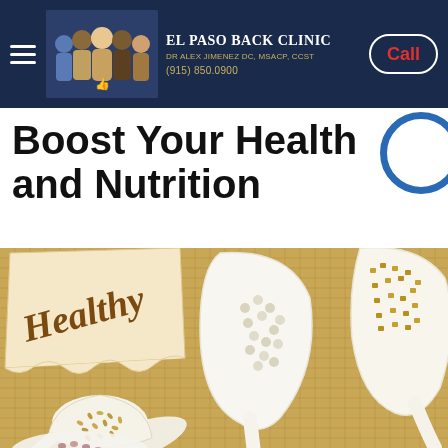El Paso Back Clinic | Dr Alex Jimenez DC, MSACP, CCST | (915) 850.0900 | Call
Boost Your Health and Nutrition
[Figure (photo): White ceramic spoons filled with various seeds and grains (lentils, buckwheat, fenugreek) arranged on a burlap background with a paper tag reading 'Healthy' in brown handwritten script.]